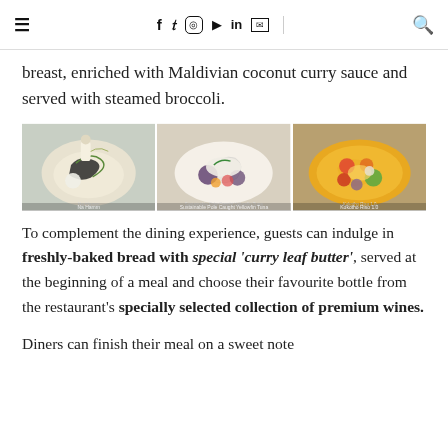≡   f  ✦  ⊙  ▶  in  ✉   🔍
breast, enriched with Maldivian coconut curry sauce and served with steamed broccoli.
[Figure (photo): Three food dish photos side by side: left labeled 'Na Hamm', center labeled 'Sustainable Pole Caught Yellowfin Tuna', right labeled 'Kokotho Riso 1.0']
To complement the dining experience, guests can indulge in freshly-baked bread with special 'curry leaf butter', served at the beginning of a meal and choose their favourite bottle from the restaurant's specially selected collection of premium wines.
Diners can finish their meal on a sweet note